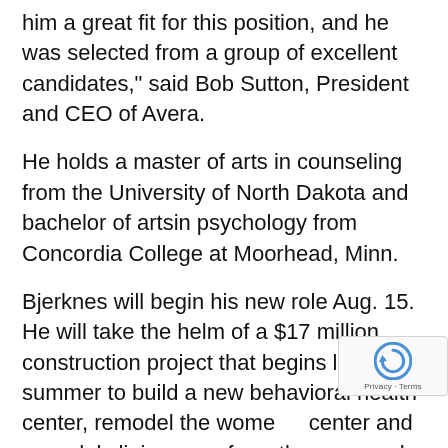him a great fit for this position, and he was selected from a group of excellent candidates," said Bob Sutton, President and CEO of Avera.
He holds a master of arts in counseling from the University of North Dakota and bachelor of artsin psychology from Concordia College at Moorhead, Minn.
Bjerknes will begin his new role Aug. 15. He will take the helm of a $17 million construction project that begins later this summer to build a new behavioral health center, remodel the women's center and remodel clinic space for orthopedic and related specialties. Avera St. Luke's is a 5-Star